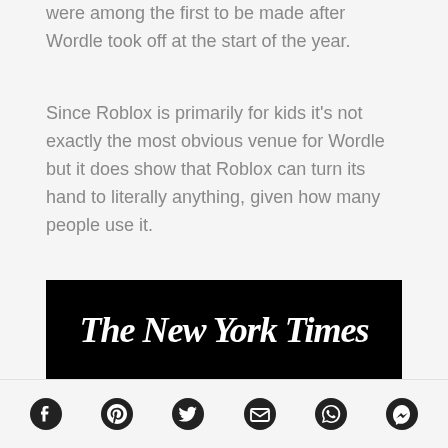were among the first to be made after Wordle took off at the start of the year.
Since Roblox is primarily for kids it's not exactly the most obvious venue for Wordle but it does show that Roblox can turn its hand to literally anything, given how many people use it.
As for Wordle itself, the game is still regularly a trending Twitter topic, and even elicits a new controversy every once in a while.
[Figure (logo): The New York Times logo — white blackletter text on black background]
Social share bar with icons: Facebook, Pinterest, Twitter, Email, WhatsApp, Messenger